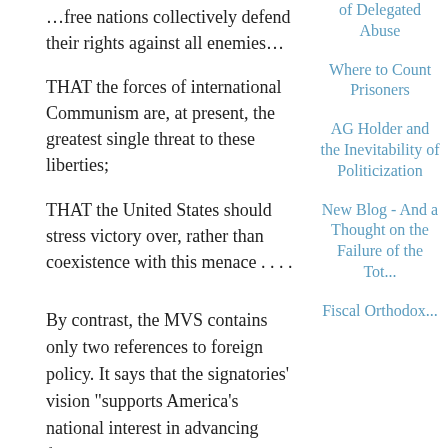THAT the forces of international Communism are, at present, the greatest single threat to these liberties;
THAT the United States should stress victory over, rather than coexistence with this menace . . . .
By contrast, the MVS contains only two references to foreign policy. It says that the signatories' vision "supports America's national interest in advancing freedom and opposing tyranny in the world and prudently considers what we can and should do to that end." It's hard to think of anyone in the gigantic political space that includes both Dennis Kucinich and Dick Cheney who would disagree with that statement. The MVS also professes "that energetic but
of Delegated Abuse
Where to Count Prisoners
AG Holder and the Inevitability of Politicization
New Blog - And a Thought on the Failure of the Tot...
Fiscal Orthodox...